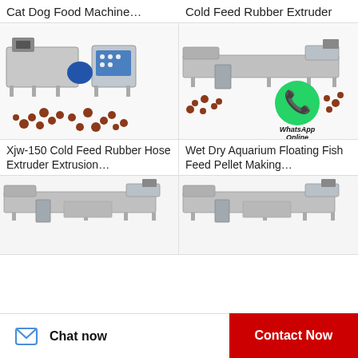Cat Dog Food Machine…
[Figure (photo): Industrial cat/dog food extrusion machine with blue control panel and small brown pellets]
Cold Feed Rubber Extruder
[Figure (photo): Cold feed rubber extruder machine — long industrial line with pellets and WhatsApp Online overlay]
Xjw-150 Cold Feed Rubber Hose Extruder Extrusion…
Wet Dry Aquarium Floating Fish Feed Pellet Making…
[Figure (photo): Industrial extruder machine — bottom left product]
[Figure (photo): Industrial extruder machine — bottom right product]
Chat now
Contact Now